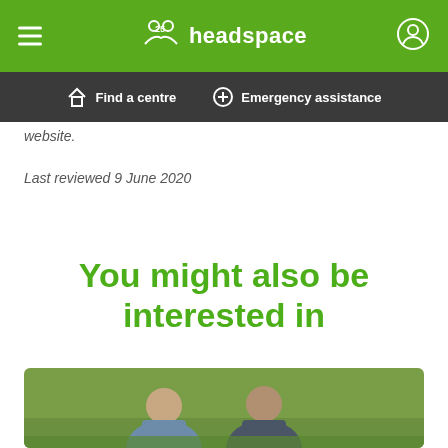headspace
Find a centre   Emergency assistance
website.
Last reviewed 9 June 2020
You might also be interested in
[Figure (photo): Two young people sitting on grass, photo partially visible at bottom of page]